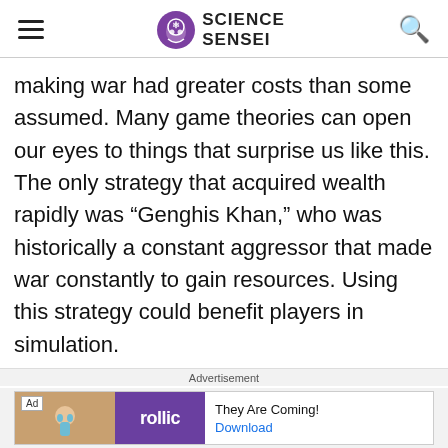SCIENCE SENSEI
making war had greater costs than some assumed. Many game theories can open our eyes to things that surprise us like this. The only strategy that acquired wealth rapidly was “Genghis Khan,” who was historically a constant aggressor that made war constantly to gain resources. Using this strategy could benefit players in simulation.
Advertisement
[Figure (screenshot): Advertisement banner for Rollic game app showing 'They Are Coming!' with a Download link]